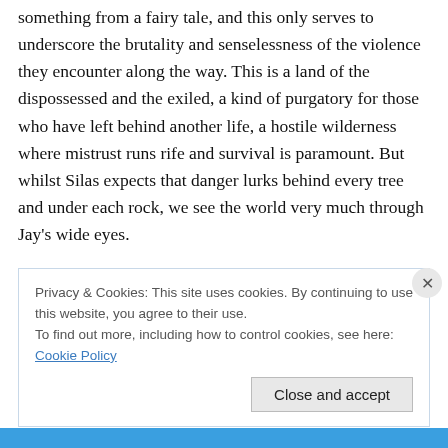something from a fairy tale, and this only serves to underscore the brutality and senselessness of the violence they encounter along the way. This is a land of the dispossessed and the exiled, a kind of purgatory for those who have left behind another life, a hostile wilderness where mistrust runs rife and survival is paramount. But whilst Silas expects that danger lurks behind every tree and under each rock, we see the world very much through Jay's wide eyes.
In a surreal moment which brings to mind Jim Jarmusch's
Privacy & Cookies: This site uses cookies. By continuing to use this website, you agree to their use.
To find out more, including how to control cookies, see here: Cookie Policy